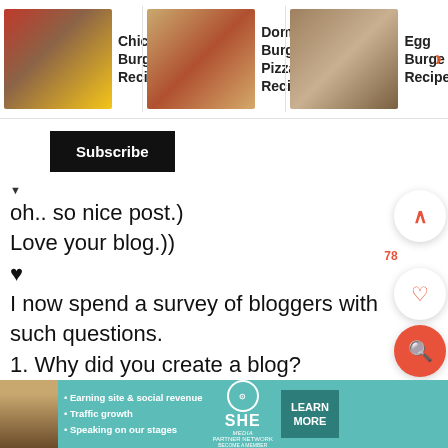[Figure (screenshot): Website top navigation bar showing recipe cards: Chicken Burger Recipe, Domino's Burger Pizza Recipe, Egg Burger Recipe with food photos]
Subscribe
▼
oh.. so nice post.)
Love your blog.))
♥
I now spend a survey of bloggers with such questions.
1. Why did you create a blog?
2. For whom you taking him? Want to be popular?
[Figure (screenshot): SHE Partner Network advertisement banner with woman photo, bullet points about earning site & social revenue, traffic growth, speaking on our stages, SHE logo, and LEARN MORE button]